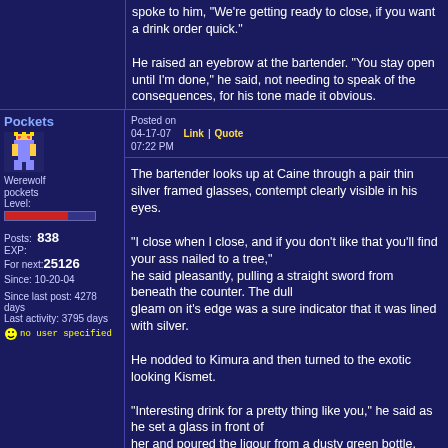spoke to him, "We're getting ready to close, if you want a drink order quick."

He raised an eyebrow at the bartender. "You stay open until I'm done," he said, not needing to speak of the consequences, for his tone made it obvious.
Pockets
Posted on 04-17-07 Link | Quote 07:22 PM
The bartender looks up at Caine through a pair thin silver framed glasses, contempt clearly visible in his eyes.

"I close when I close, and if you don't like that you'll find your ass nailed to a tree," he said pleasantly, pulling a straight sword from beneath the counter. The dull gleam on it's edge was a sure indicator that it was lined with silver.

He nodded to Kimura and then turned to the exotic looking Kismet.

"Interesting drink for a pretty thing like you," he said as he set a glass in front of her and poured the liqour from a dusty green bottle.
Makura
Posted on 04-17-07 Link | Quote 07:28 PM
Kimure raised an eyebrow at the bartender. "What kind of brew do you have? Something dark and full